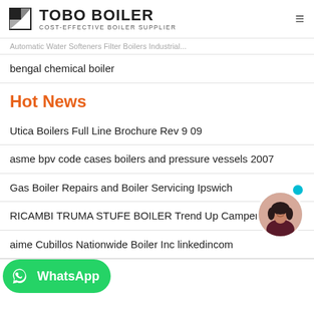TOBO BOILER COST-EFFECTIVE BOILER SUPPLIER
Automatic Water Softeners Filter Boilers Industrial...
bengal chemical boiler
Hot News
Utica Boilers Full Line Brochure Rev 9 09
asme bpv code cases boilers and pressure vessels 2007
Gas Boiler Repairs and Boiler Servicing Ipswich
RICAMBI TRUMA STUFE BOILER Trend Up Camper On
aime Cubillos Nationwide Boiler Inc linkedincom
[Figure (other): WhatsApp contact button (green rounded rectangle with WhatsApp logo and text)]
[Figure (photo): Chat support avatar - woman with dark hair, circular photo with blue online indicator dot]